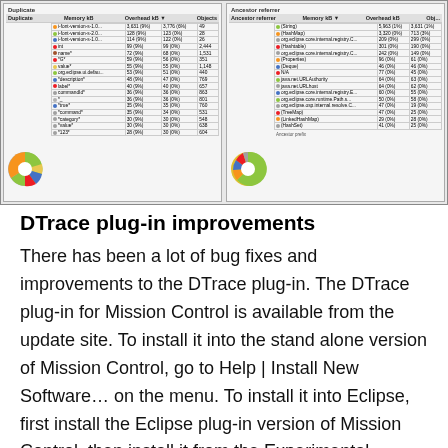[Figure (screenshot): Screenshot of a Java Mission Control memory analysis tool showing two panes: 'Duplicate' and 'Ancestor referrer', each with pie charts and tables listing object types with Memory %, Overhead %, and Objects columns.]
DTrace plug-in improvements
There has been a lot of bug fixes and improvements to the DTrace plug-in. The DTrace plug-in for Mission Control is available from the update site. To install it into the stand alone version of Mission Control, go to Help | Install New Software… on the menu. To install it into Eclipse, first install the Eclipse plug-in version of Mission Control, then install it from the Experimental update-site. The improvements to the plug-in include: improved error handling and error reporting, improved documentation, faster wizard start-up and miscellaneous bug fixes. I've written a blog on the